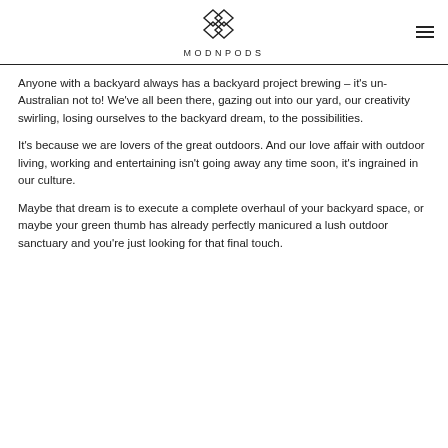MODNPODS
Anyone with a backyard always has a backyard project brewing – it's un-Australian not to! We've all been there, gazing out into our yard, our creativity swirling, losing ourselves to the backyard dream, to the possibilities.
It's because we are lovers of the great outdoors. And our love affair with outdoor living, working and entertaining isn't going away any time soon, it's ingrained in our culture.
Maybe that dream is to execute a complete overhaul of your backyard space, or maybe your green thumb has already perfectly manicured a lush outdoor sanctuary and you're just looking for that final touch.